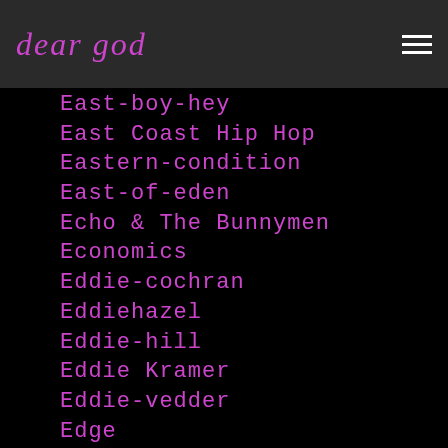dear god
East-boy-hey (partial)
East Coast Hip Hop
Eastern-condition
East-of-eden
Echo & The Bunnymen
Economics
Eddie-cochran
Eddiehazel
Eddie-hill
Eddie Kramer
Eddie-vedder
Edge
Ed-rodriguez
Education
Edward-said
Ed-wood
Eels